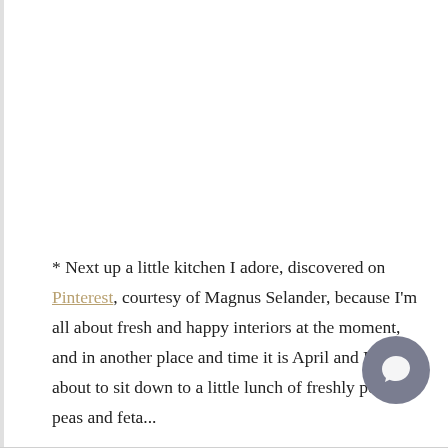* Next up a little kitchen I adore, discovered on Pinterest, courtesy of Magnus Selander, because I'm all about fresh and happy interiors at the moment, and in another place and time it is April and I am about to sit down to a little lunch of freshly popped peas and feta...
[Figure (other): A circular chat/comment button icon in grey-blue color with a speech bubble symbol, positioned in the bottom-right area of the page.]